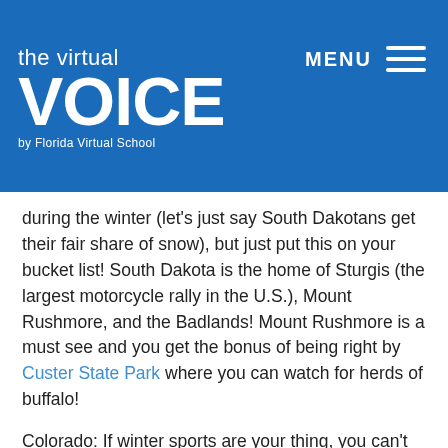the virtual VOICE by Florida Virtual School | MENU
during the winter (let's just say South Dakotans get their fair share of snow), but just put this on your bucket list! South Dakota is the home of Sturgis (the largest motorcycle rally in the U.S.), Mount Rushmore, and the Badlands! Mount Rushmore is a must see and you get the bonus of being right by Custer State Park where you can watch for herds of buffalo!
Colorado: If winter sports are your thing, you can't beat Colorado! If you are in need of affordable airfare for a family, Denver International Airport is (generally) a lot less expensive then flying into Salt Lake City, Utah or Jackson Hole, Wyoming! Colorado has tons of ski resorts to choose from. For families, check out Winter Park. It was a surprising...